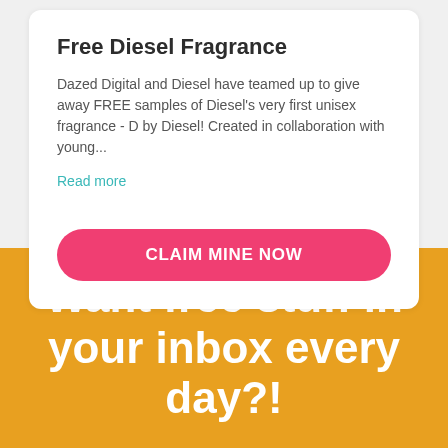Free Diesel Fragrance
Dazed Digital and Diesel have teamed up to give away FREE samples of Diesel's very first unisex fragrance - D by Diesel! Created in collaboration with young...
Read more
CLAIM MINE NOW
Want free stuff in your inbox every day?!